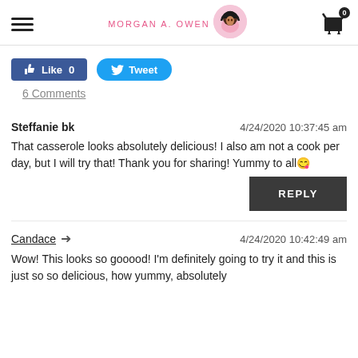MORGAN A. OWEN [logo with avatar]
[Figure (screenshot): Facebook Like button showing 0 likes and Twitter Tweet button]
6 Comments
Steffanie bk    4/24/2020 10:37:45 am
That casserole looks absolutely delicious! I also am not a cook per day, but I will try that! Thank you for sharing! Yummy to all 😋
REPLY
Candace    4/24/2020 10:42:49 am
Wow! This looks so gooood! I'm definitely going to try it and this is just so delicious, how yummy, absolutely...